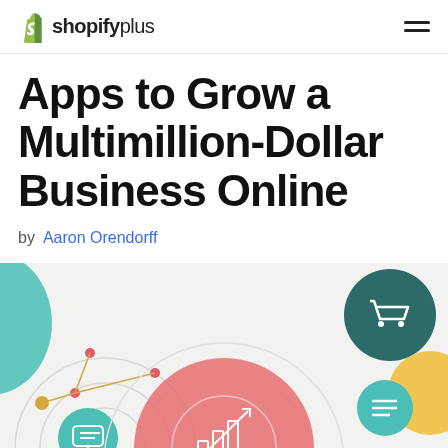shopifyplus
Apps to Grow a Multimillion-Dollar Business Online
by Aaron Orendorff
[Figure (illustration): Colorful infographic illustration with circles and icons representing e-commerce growth concepts — shopping cart icon on dark teal circle, menu/list icon on teal circle, chart/growth icon on large salmon/coral circle, network nodes with colored dots on left, and a teal shape on the far left. Light gray background with decorative circular rings.]